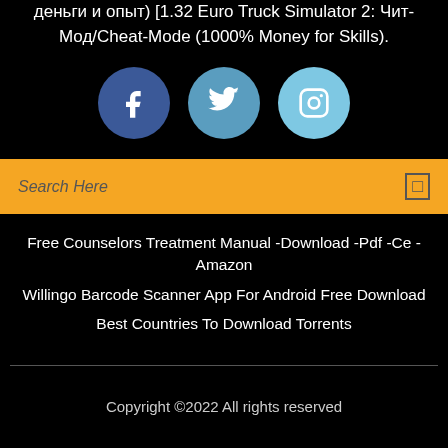деньги и опыт) [1.32 Euro Truck Simulator 2: Чит-Мод/Cheat-Mode (1000% Money for Skills).
[Figure (other): Three social media icons: Facebook (dark blue circle), Twitter (medium blue circle), Instagram (light blue circle)]
Search Here
Free Counselors Treatment Manual -Download -Pdf -Ce -Amazon
Willingo Barcode Scanner App For Android Free Download
Best Countries To Download Torrents
Copyright ©2022 All rights reserved